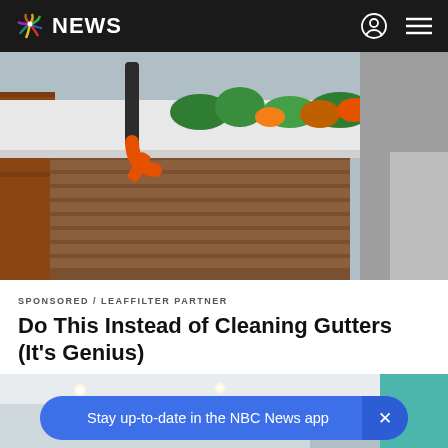NBC NEWS
[Figure (photo): Close-up photo of a clogged house gutter filled with green and orange plant growth, with an orange curved hose nozzle inserted, showing a house exterior with wood siding and greenery in background]
SPONSORED / LEAFFILTER PARTNER
Do This Instead of Cleaning Gutters (It's Genius)
[Figure (photo): Partial view of a modern interior room with ceiling lights and teal/blue wall accent]
Stay up-to-date in the NBC News app